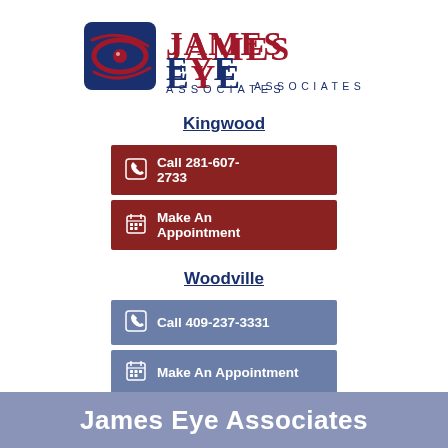[Figure (logo): James Eye Associates logo with stylized eye icon and company name]
Kingwood
Call 281-607-2733
Make An Appointment
Woodville
Call 409-237-3331
Make An Appointment
James Eye Associates